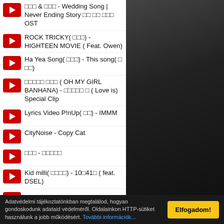□□□ & □□□ - Wedding Song | Never Ending Story □□ □□ □□□ OST
ROCK TRICKY( □□□) - HIGHTEEN MOVIE ( Feat. Owen)
Ha Yea Song( □□□) - This song( □ □□)
□□□□□ □□□ ( OH MY GIRL BANHANA) - □□□□□ □ ( Love is) Special Clip
Lyrics Video P!nUp( □□) - IMMM
CityNoise - Copy Cat
□□□ - □□□□□
Kid milli( □□□□) - 10□41□ ( feat. DSEL)
Adatvédelmi tájékoztatónkban megtalálod, hogyan gondoskodunk adataid védelméről. Oldalainkon HTTP-sütiket használunk a jobb működésért. További információk...